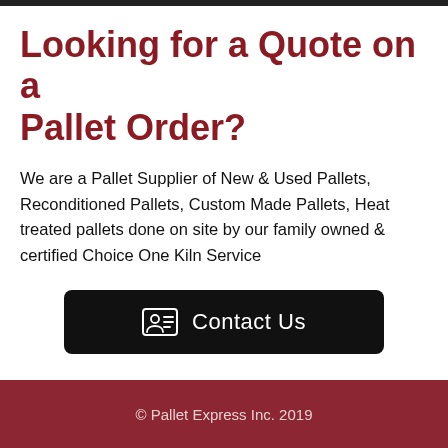Looking for a Quote on a Pallet Order?
We are a Pallet Supplier of New & Used Pallets, Reconditioned Pallets, Custom Made Pallets, Heat treated pallets done on site by our family owned & certified Choice One Kiln Service
Contact Us
© Pallet Express Inc. 2019